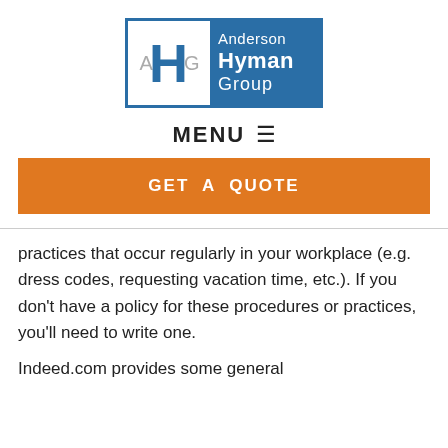[Figure (logo): Anderson Hyman Group logo with AHG monogram on white/blue background]
MENU ☰
GET A QUOTE
practices that occur regularly in your workplace (e.g. dress codes, requesting vacation time, etc.). If you don't have a policy for these procedures or practices, you'll need to write one.
Indeed.com provides some general